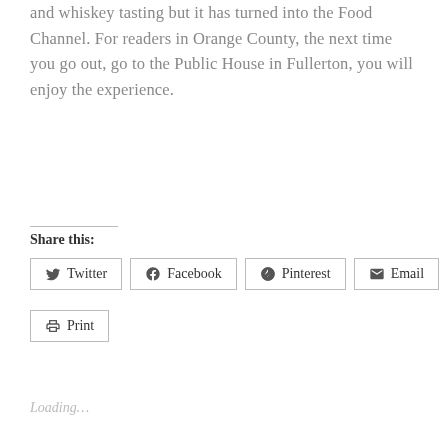and whiskey tasting but it has turned into the Food Channel. For readers in Orange County, the next time you go out, go to the Public House in Fullerton, you will enjoy the experience.
Share this:
Twitter Facebook Pinterest Email Print
Loading…